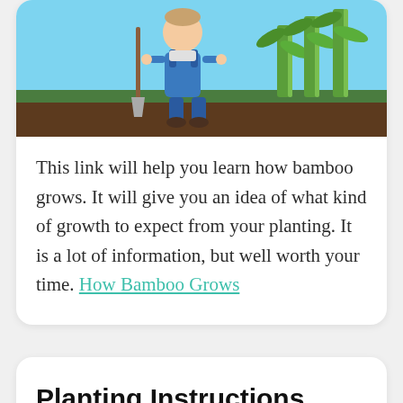[Figure (illustration): Cartoon illustration of a person in blue overalls holding a shovel, standing next to bamboo plants on soil, with a blue sky background.]
This link will help you learn how bamboo grows. It will give you an idea of what kind of growth to expect from your planting. It is a lot of information, but well worth your time. How Bamboo Grows
Planting Instructions
Planting bamboo is also easy. You want